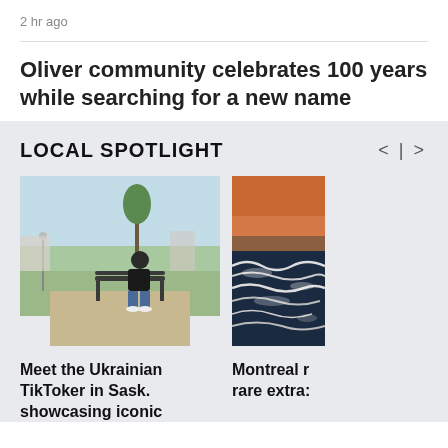2 hr ago
Oliver community celebrates 100 years while searching for a new name
LOCAL SPOTLIGHT
[Figure (photo): Person sitting on a park bench looking at a phone, with trees and a path in the background on a clear day]
[Figure (photo): Rough ocean waves with an orange/red sunset sky in the background]
Meet the Ukrainian TikToker in Sask. showcasing iconic
Montreal r rare extra: